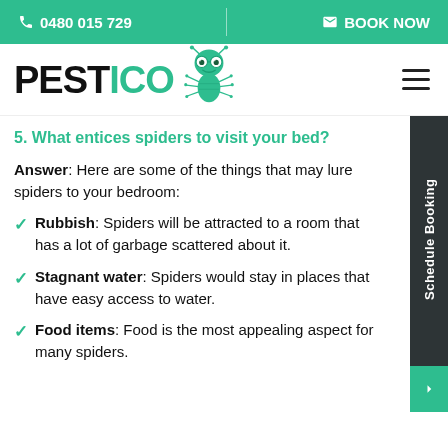📞 0480 015 729 | ✉ BOOK NOW
[Figure (logo): PESTICO logo with cartoon green bug mascot wearing glasses]
5. What entices spiders to visit your bed?
Answer: Here are some of the things that may lure spiders to your bedroom:
Rubbish: Spiders will be attracted to a room that has a lot of garbage scattered about it.
Stagnant water: Spiders would stay in places that have easy access to water.
Food items: Food is the most appealing aspect for many spiders.